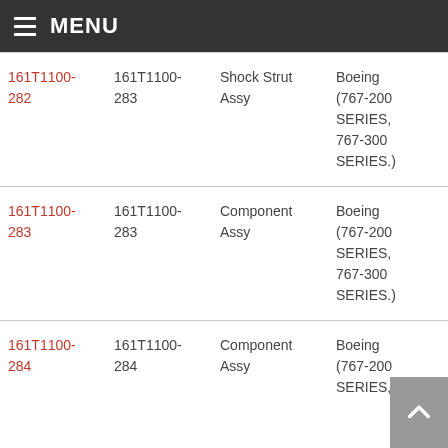MENU
| Part Number | OEM Part Number | Description | Application | Action |
| --- | --- | --- | --- | --- |
| 161T1100-282 | 161T1100-282 | Shock Strut Assy | Boeing (767-200 SERIES, 767-300 SERIES.) | Request Fo... |
| 161T1100-283 | 161T1100-283 | Component Assy | Boeing (767-200 SERIES, 767-300 SERIES.) | Request Fo... |
| 161T1100-284 | 161T1100-284 | Component Assy | Boeing (767-200 SERIES, | Request Fo... |